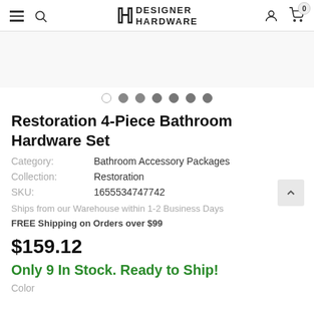Designer Hardware — navigation header with hamburger menu, search, logo, user icon, and cart (0)
[Figure (other): Product image carousel area (blank/white) with 7 navigation dots below, first dot empty/outlined and remaining 6 filled gray]
Restoration 4-Piece Bathroom Hardware Set
Category: Bathroom Accessory Packages
Collection: Restoration
SKU: 1655534747742
Ships from our Warehouse within 1-2 Business Days
FREE Shipping on Orders over $99
$159.12
Only 9 In Stock. Ready to Ship!
Color